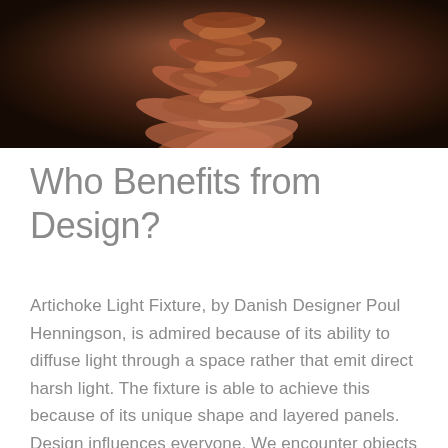[Figure (photo): Close-up photograph of a copper/bronze Artichoke Light Fixture by Poul Henningson, showing layered overlapping metallic panels against a dark background]
Who Benefits from Design?
Artichoke Light Fixture, by Danish Designer Poul Henningson, is admired because of its ability to diffuse light through a space rather that emit direct harsh light. The fixture is able to achieve this because of its unique shape and layered panels. Design influences everyone. We encounter objects and spaces every second of our lives that were designed to function so effortlessly that the true